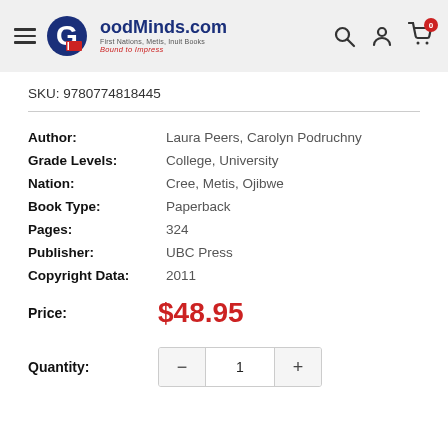GoodMinds.com — First Nations, Metis, Inuit Books. Bound to Impress.
SKU: 9780774818445
| Field | Value |
| --- | --- |
| Author: | Laura Peers, Carolyn Podruchny |
| Grade Levels: | College, University |
| Nation: | Cree, Metis, Ojibwe |
| Book Type: | Paperback |
| Pages: | 324 |
| Publisher: | UBC Press |
| Copyright Data: | 2011 |
Price: $48.95
Quantity: 1